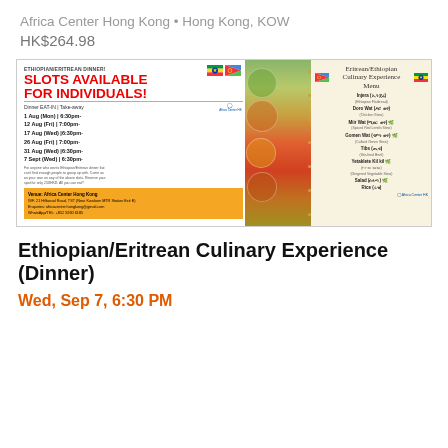Africa Center Hong Kong • Hong Kong, KOW
HK$264.98
[Figure (infographic): Ethiopian/Eritrean Dinner event flyer with two panels. Left panel shows 'SLOTS AVAILABLE FOR INDIVIDUALS!' in red, dinner dates (1 Aug Mon 6:30pm, 12 Aug Fri 7:00pm, 17 Aug Wed 6:30pm, 26 Aug Fri 7:00pm, 31 Aug Wed 6:30pm, 7 Sept Wed 6:30pm), Eat-IN and Take-away info, venue details for Africa Center Hong Kong, phone +852 9260 6185. Right panel shows Eritrean/Ethiopian Culinary Experience Menu including Injera, Doro Wat, Miir Wat, Gomen Wat, Tibs, Yetaklete Kilkil, Salad, Rice.]
Ethiopian/Eritrean Culinary Experience (Dinner)
Wed, Sep 7, 6:30 PM